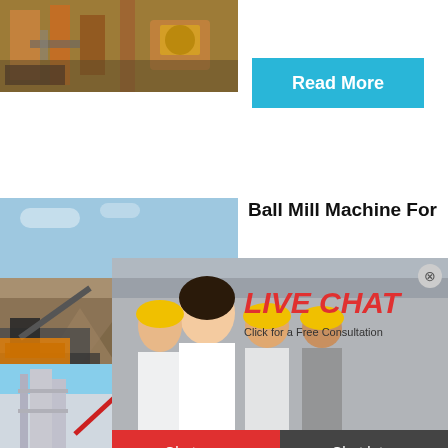[Figure (photo): Industrial machinery/factory interior with equipment and pipes, orange/brown tones]
[Figure (other): Blue 'Read More' button]
[Figure (photo): Quarry/mining site with heavy machinery and gravel piles]
Ball Mill Machine For
[Figure (infographic): Live chat popup overlay showing workers in hard hats with 'LIVE CHAT' text and 'Click for a Free Consultation' subtitle, with 'Chat now' (red) and 'Chat later' (dark) buttons]
[Figure (photo): Right sidebar showing cone crusher machine image with 'hour online' text, 'Click me to chat>>' button, 'Enquiry' and 'limingjlmofen' on blue background]
[Figure (photo): Industrial plant/tower with red crane structure against blue sky]
How to fines pa Crushe